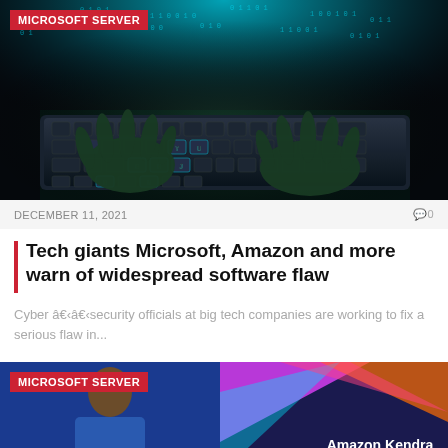[Figure (photo): Dark photo of two hands typing on a glowing laptop keyboard with digital code/binary data streaming in teal/cyan light in the background, dramatic hacker aesthetic]
MICROSOFT SERVER
DECEMBER 11, 2021   0
Tech giants Microsoft, Amazon and more warn of widespread software flaw
Cyber â€‹â€‹security officials at big tech companies are working to fix a serious flaw in...
[Figure (photo): Partial screenshot showing a person on left side with blue background and on right a colorful geometric presentation slide with text 'Amazon Kendra' partially visible]